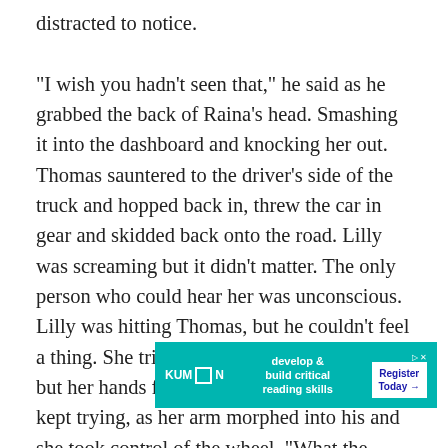distracted to notice.
“I wish you hadn’t seen that,” he said as he grabbed the back of Raina’s head. Smashing it into the dashboard and knocking her out. Thomas sauntered to the driver’s side of the truck and hopped back in, threw the car in gear and skidded back onto the road. Lilly was screaming but it didn’t matter. The only person who could hear her was unconscious. Lilly was hitting Thomas, but he couldn’t feel a thing. She tried grabbing the steering wheel but her hands fell through each time. She kept trying, as her arm morphed into his and she took control of the wheel. “What the hell?” he said over his side, still, over
[Figure (infographic): Kumon advertisement banner: teal background with Kumon logo on left, text 'develop & build critical reading skills' in center, and 'Register Today' button on right with DX marker]